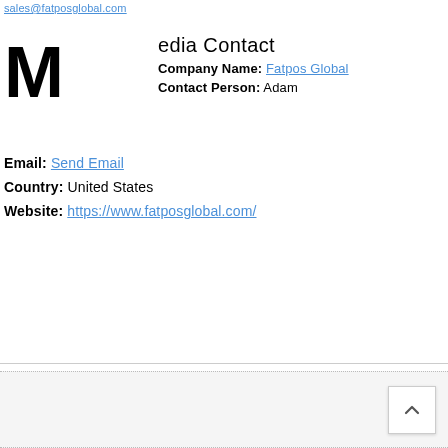sales@fatposglobal.com
Media Contact
Company Name: Fatpos Global
Contact Person: Adam
Email: Send Email
Country: United States
Website: https://www.fatposglobal.com/